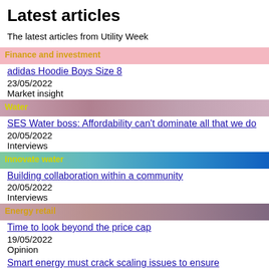Latest articles
The latest articles from Utility Week
[Figure (other): Finance and investment category banner with pink background]
adidas Hoodie Boys Size 8
23/05/2022
Market insight
[Figure (other): Water category banner with rose/mauve photographic background]
SES Water boss: Affordability can’t dominate all that we do
20/05/2022
Interviews
[Figure (other): Innovate water category banner with teal to blue gradient]
Building collaboration within a community
20/05/2022
Interviews
[Figure (other): Energy retail category banner with pink/mauve photographic background]
Time to look beyond the price cap
19/05/2022
Opinion
Smart energy must crack scaling issues to ensure renewables reach their full potential
19/05/2022
Comment
[Figure (other): Innovate networks category banner with teal/blue gradient (partial at bottom)]